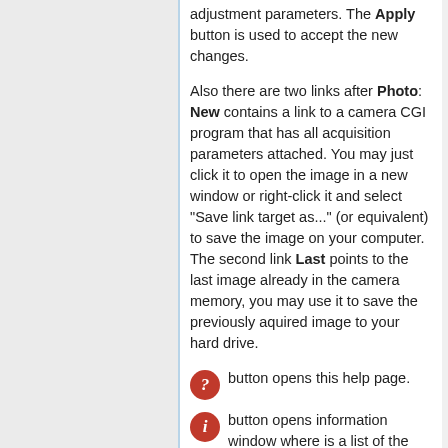adjustment parameters. The Apply button is used to accept the new changes.
Also there are two links after Photo: New contains a link to a camera CGI program that has all acquisition parameters attached. You may just click it to open the image in a new window or right-click it and select "Save link target as..." (or equivalent) to save the image on your computer. The second link Last points to the last image already in the camera memory, you may use it to save the previously aquired image to your hard drive.
? button opens this help page.
i button opens information window where is a list of the acquisition parameters used during the last